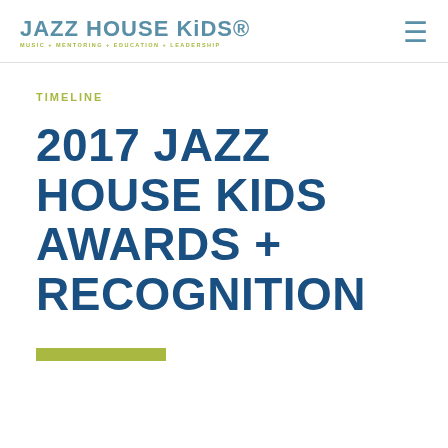JAZZ HOUSE KiDS® MUSIC + MENTORING + EDUCATION + LEADERSHIP
TIMELINE
2017 JAZZ HOUSE KIDS AWARDS + RECOGNITION
[Figure (other): Green/yellow-green horizontal decorative bar]